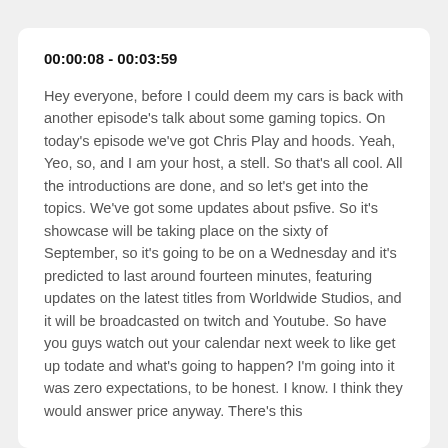00:00:08 - 00:03:59
Hey everyone, before I could deem my cars is back with another episode's talk about some gaming topics. On today's episode we've got Chris Play and hoods. Yeah, Yeo, so, and I am your host, a stell. So that's all cool. All the introductions are done, and so let's get into the topics. We've got some updates about psfive. So it's showcase will be taking place on the sixty of September, so it's going to be on a Wednesday and it's predicted to last around fourteen minutes, featuring updates on the latest titles from Worldwide Studios, and it will be broadcasted on twitch and Youtube. So have you guys watch out your calendar next week to like get up todate and what's going to happen? I'm going into it was zero expectations, to be honest. I know. I think they would answer price anyway. There's this